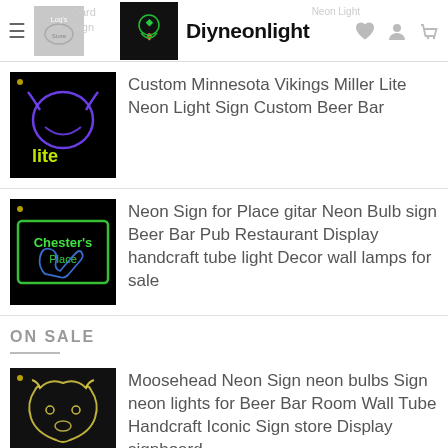Diyneonlight
Custom Minnesota Vikings Miller Lite Neon Light Sign Custom Beer Bar
Neon Sign for Place gitar Neon Bulb sign Beer Bar Pub Restaurant Display handcraft tube light Decor wall lamps for sale
ON SALE
Moosehead Neon Sign neon bulbs Sign neon lights for Beer Bar Room Wall Tube Handcraft Iconic Sign store Display signboard
Custom Made Shelby Neon Light Sign Custom Beer Bar